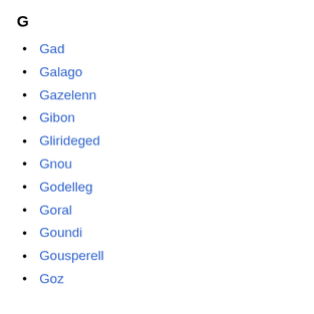G
Gad
Galago
Gazelenn
Gibon
Glirideged
Gnou
Godelleg
Goral
Goundi
Gousperell
Goz